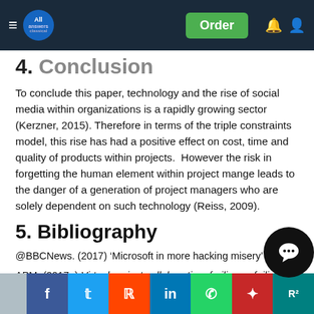All Answers | Order
4. Conclusion
To conclude this paper, technology and the rise of social media within organizations is a rapidly growing sector (Kerzner, 2015). Therefore in terms of the triple constraints model, this rise has had a positive effect on cost, time and quality of products within projects.  However the risk in forgetting the human element within project mange leads to the danger of a generation of project managers who are solely dependent on such technology (Reiss, 2009).
5. Bibliography
@BBCNews. (2017) ‘Microsoft in more hacking misery’
APM. (2017a) Virtual project collaboration: frailing or failing? : [Online] Available at: https://www.apm.org.uk/resources/find-a-resource/virtual-project-collaboration-